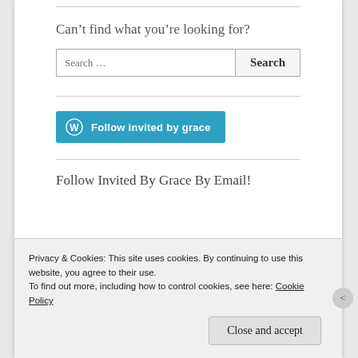Can’t find what you’re looking for?
[Figure (screenshot): Search bar with text 'Search …' and a Search button]
[Figure (screenshot): Blue WordPress Follow button labeled 'Follow invited by grace']
Follow Invited By Grace By Email!
Privacy & Cookies: This site uses cookies. By continuing to use this website, you agree to their use.
To find out more, including how to control cookies, see here: Cookie Policy
Close and accept